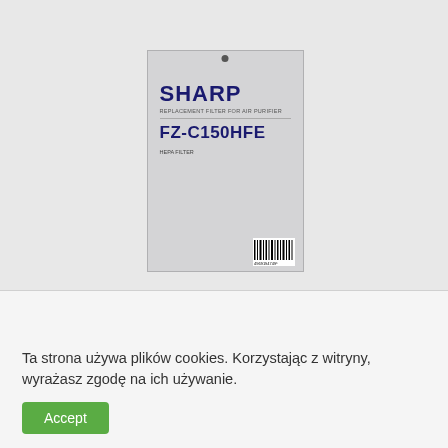[Figure (photo): Product photo of a Sharp FZ-C150HFE filter replacement box, light gray packaging with Sharp logo and model number, shown against a light gray background.]
Ta strona używa plików cookies. Korzystając z witryny, wyrażasz zgodę na ich używanie.